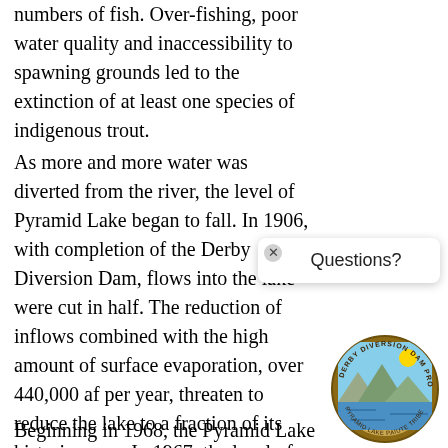numbers of fish. Over-fishing, poor water quality and inaccessibility to spawning grounds led to the extinction of at least one species of indigenous trout.
As more and more water was diverted from the river, the level of Pyramid Lake began to fall. In 1906, with completion of the Derby Diversion Dam, flows into the lake were cut in half. The reduction of inflows combined with the high amount of surface evaporation, over 440,000 af per year, threaten to reduce the lake to a fraction of its historic norm. In 1967, the level of Pyramid Lake reached its lowest point in recorded history, 87 feet lower than when diversions began at Derby in 19__ prevented Pyramid Lake fish species from migrating upstream to spawn.
Beginning in 1968, the Pyramid Lake Paiute
[Figure (logo): Circular logo for Derby Diversion Dam/Pyramid Lake area with landscape scene (lake, mountains, sky) and text around the border]